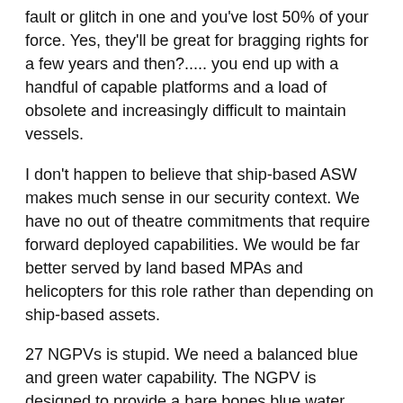fault or glitch in one and you've lost 50% of your force. Yes, they'll be great for bragging rights for a few years and then?..... you end up with a handful of capable platforms and a load of obsolete and increasingly difficult to maintain vessels.
I don't happen to believe that ship-based ASW makes much sense in our security context. We have no out of theatre commitments that require forward deployed capabilities. We would be far better served by land based MPAs and helicopters for this role rather than depending on ship-based assets.
27 NGPVs is stupid. We need a balanced blue and green water capability. The NGPV is designed to provide a bare bones blue water presence and they are useful in that regard but they are hideously inefficient for green water capabilities. We would do far better to recapitalize the latter as I believe the developments of the last decade or so has really transformed the potential of smaller vessels.
Combined with a UAV surveillance capability and you can